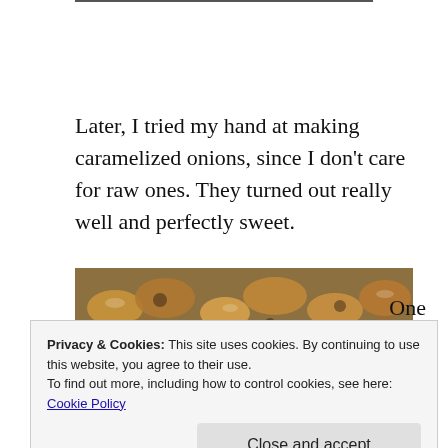Later, I tried my hand at making caramelized onions, since I don't care for raw ones. They turned out really well and perfectly sweet.
[Figure (photo): Close-up photo of caramelized onions on a green surface, showing golden-brown cooked onion pieces.]
One
Privacy & Cookies: This site uses cookies. By continuing to use this website, you agree to their use.
To find out more, including how to control cookies, see here:
Cookie Policy
Close and accept